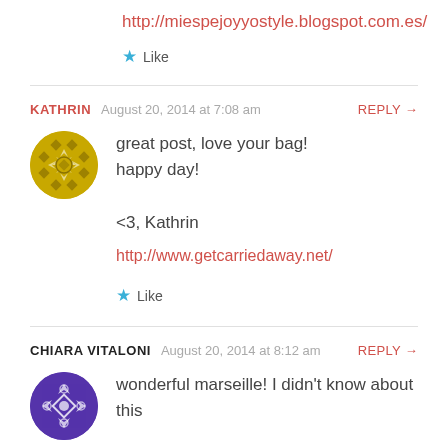http://miespejoyyostyle.blogspot.com.es/
Like
KATHRIN  August 20, 2014 at 7:08 am  REPLY →
great post, love your bag!
happy day!

<3, Kathrin
http://www.getcarriedaway.net/
Like
CHIARA VITALONI  August 20, 2014 at 8:12 am  REPLY →
wonderful marseille! I didn't know about this